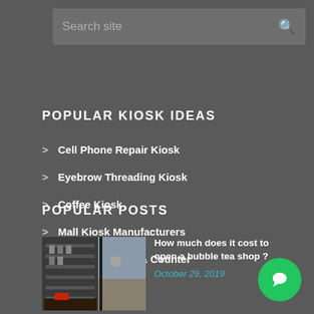Search site
POPULAR KIOSK IDEAS
Cell Phone Repair Kiosk
Eyebrow Threading Kiosk
Coffee Kiosk
Mall Kiosk Manufacturers
Reception Desk & Counter
POPULAR POSTS
[Figure (photo): Interior of a bubble tea or cafe shop with dark shelving and display]
How much does it cost to open a bubble tea shop ?
October 29, 2019